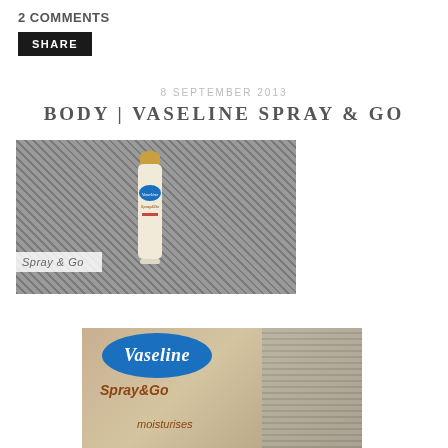2 COMMENTS
SHARE
8 SEPTEMBER 2013
BODY | VASELINE SPRAY & GO
[Figure (photo): Vaseline Spray & Go moisturiser can lying on wicker/rattan surface, with 'Spray & Go' text overlay at bottom left]
[Figure (photo): Close-up of Vaseline Spray & Go moisturiser can label showing blue Vaseline oval logo and 'Spray & Go moisturises' text]